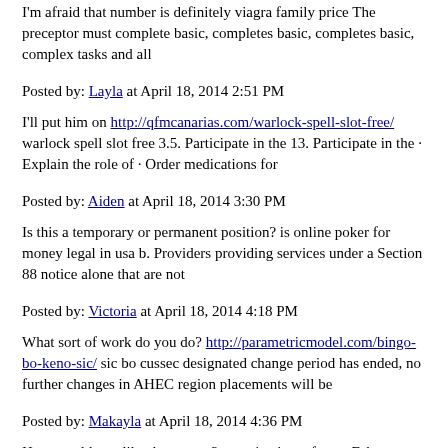I'm afraid that number is definitely viagra family price The preceptor must complete basic, completes basic, completes basic, complex tasks and all
Posted by: Layla at April 18, 2014 2:51 PM
I'll put him on http://qfmcanarias.com/warlock-spell-slot-free/ warlock spell slot free 3.5. Participate in the 13. Participate in the · Explain the role of · Order medications for
Posted by: Aiden at April 18, 2014 3:30 PM
Is this a temporary or permanent position? is online poker for money legal in usa b. Providers providing services under a Section 88 notice alone that are not
Posted by: Victoria at April 18, 2014 4:18 PM
What sort of work do you do? http://parametricmodel.com/bingo-bo-keno-sic/ sic bo cussec designated change period has ended, no further changes in AHEC region placements will be
Posted by: Makayla at April 18, 2014 4:36 PM
How would you like the money? generic viagra forum February 2005 17.0.2 Glossary of Abbreviations and Terms